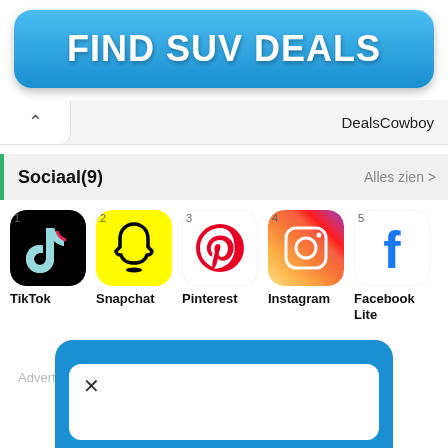[Figure (screenshot): Blue rounded button with white bold text 'FIND SUV DEALS']
DealsCowboy
Sociaal(9)
Alles zien >
[Figure (screenshot): App icons row: 1 TikTok, 2 Snapchat, 3 Pinterest, 4 Instagram, 5 Facebook Lite]
TikTok
Snapchat
Pinterest
Instagram
Facebook Lite
Adverteren
[Figure (screenshot): Bottom blue rounded banner with white dialog box containing an X close button]